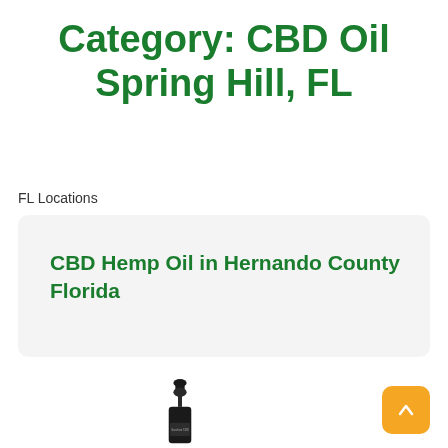Category: CBD Oil Spring Hill, FL
FL Locations
CBD Hemp Oil in Hernando County Florida
[Figure (photo): A dark dropper bottle of Sunshine CBD hemp oil product, partially visible at the bottom of the page]
[Figure (other): Orange back-to-top button with upward arrow icon in the bottom right corner]